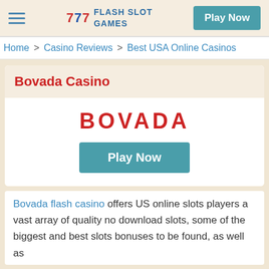FLASH SLOT GAMES | Play Now
Home > Casino Reviews > Best USA Online Casinos
Bovada Casino
[Figure (logo): BOVADA logo in red bold text]
Play Now
Bovada flash casino offers US online slots players a vast array of quality no download slots, some of the biggest and best slots bonuses to be found, as well as